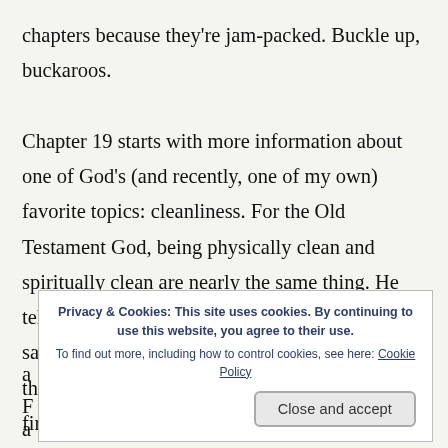chapters because they're jam-packed. Buckle up, buckaroos.

Chapter 19 starts with more information about one of God's (and recently, one of my own) favorite topics: cleanliness. For the Old Testament God, being physically clean and spiritually clean are nearly the same thing. He tells Moses and Aaron to have a young red heifer sacrificed. Eleazar the priest is to be present to the slaughter so he can take some blood on his finger and sprinkle it toward the Tabernacle. Then, every bit of the heifer is to be burned, along with some cedar, hyssop
Privacy & Cookies: This site uses cookies. By continuing to use this website, you agree to their use.
To find out more, including how to control cookies, see here: Cookie Policy
Close and accept
they'll still be members with that reason...